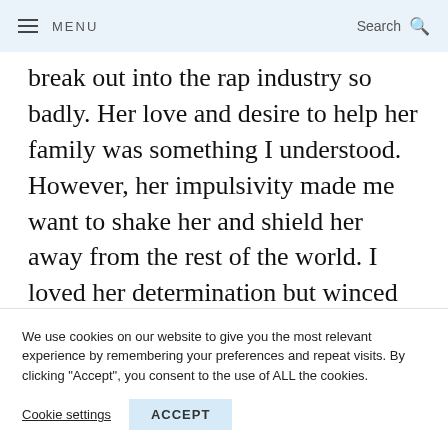MENU  Search
break out into the rap industry so badly. Her love and desire to help her family was something I understood. However, her impulsivity made me want to shake her and shield her away from the rest of the world. I loved her determination but winced every time she made a decision that I knew would end up with her being exploited or
We use cookies on our website to give you the most relevant experience by remembering your preferences and repeat visits. By clicking "Accept", you consent to the use of ALL the cookies.
Cookie settings  ACCEPT